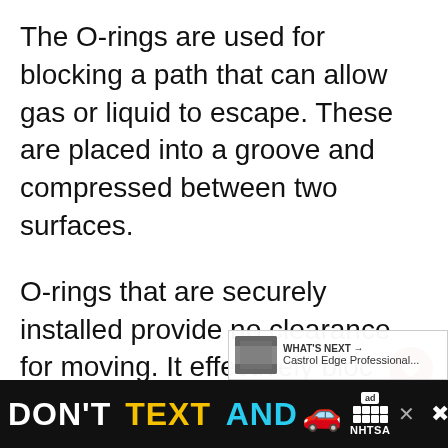The O-rings are used for blocking a path that can allow gas or liquid to escape. These are placed into a groove and compressed between two surfaces.
O-rings that are securely installed provide no clearance for moving. It effectively blocks the pathway to seal the gas or liquid in place.
So, the next step to do is to remove the existing O-rings from the air conditioning system. Then, replace them with the barrier style HNBR O-rings...
[Figure (screenshot): Advertisement banner: 'DON'T TEXT AND [car emoji]' with NHTSA branding, ad badge, close button, and music streaming icon on black background.]